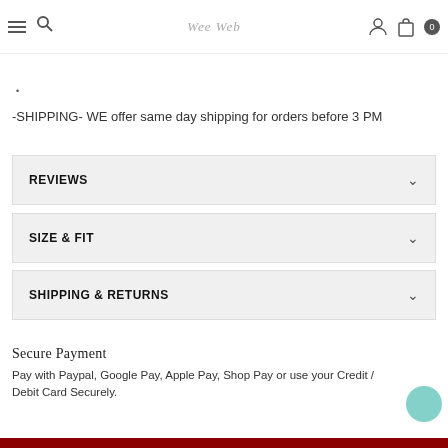Navigation header with menu, search, logo, account and cart icons
Please note that the fit and color may vary slightly according to the personal preferences and screen settings.
-SHIPPING- WE offer same day shipping for orders before 3 PM
REVIEWS
SIZE & FIT
SHIPPING & RETURNS
Secure Payment
Pay with Paypal, Google Pay, Apple Pay, Shop Pay or use your Credit / Debit Card Securely.